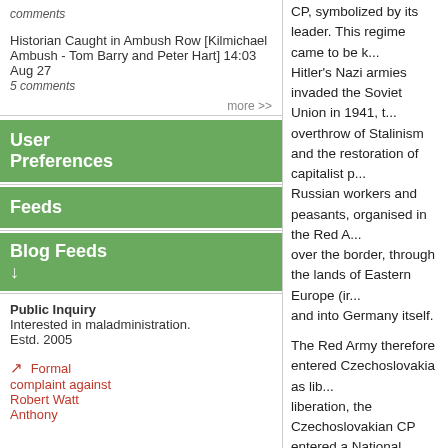comments
Historian Caught in Ambush Row [Kilmichael Ambush - Tom Barry and Peter Hart] 14:03 Aug 27 5 comments
more >>
User Preferences
Feeds
Blog Feeds
Public Inquiry Interested in maladministration. Estd. 2005
Formal complaint against Robert Watt Anthony
CP, symbolized by its leader. This regime came to be k... Hitler's Nazi armies invaded the Soviet Union in 1941, t... overthrow of Stalinism and the restoration of capitalist p... Russian workers and peasants, organised in the Red A... over the border, through the lands of Eastern Europe (ir... and into Germany itself.
The Red Army therefore entered Czechoslovakia as lib... liberation, the Czechoslovakian CP entered a National ... with those parties representing the country's weak capit...
The party's Stalinist leaders came under pressure from... masses to strike blows against the capitalist elite that ha... 1946, the Czechoslovakian CP won 38% of the vote in... highest ever vote for a CP in an election anywhere in th... 1948, CP membership had reached 1,350,000.
1948 – Stalinism comes to power
It suited the Stalinists in both Czechoslovakia and Russ... against capitalism in 1948. The masses played an impo... greater role than that played by the masses in ending b... Eastern Bloc countries. This is an important point to bea... the events of 20 years later. The CP first formed trade u... action committees statewide and called the working cla...
The CP seized state power, then moved from above to... employing more than 50; to divide the land among the p... nationalising it as the Bolsheviks had done); and to esta... foreign trade. These measures – hugely popular – effec... and the trade union militias deterred resistance from...